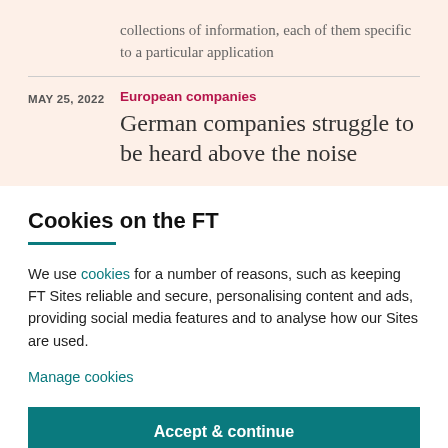collections of information, each of them specific to a particular application
MAY 25, 2022
European companies
German companies struggle to be heard above the noise
Cookies on the FT
We use cookies for a number of reasons, such as keeping FT Sites reliable and secure, personalising content and ads, providing social media features and to analyse how our Sites are used.
Manage cookies
Accept & continue